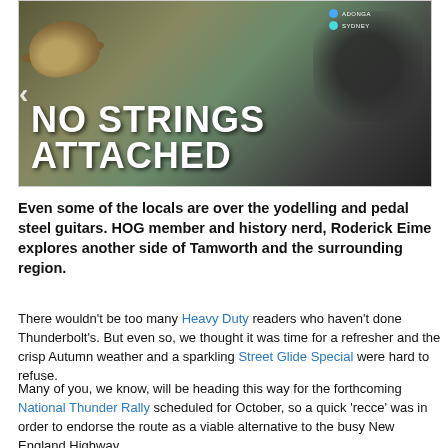[Figure (photo): Banner image with text 'NO STRINGS ATTACHED' in large white bold letters on a dark background, with a cowboy hat visible on the left, a motorcycle/equipment on the right, and a small map overlay showing locations including Sydney.]
Even some of the locals are over the yodelling and pedal steel guitars. HOG member and history nerd, Roderick Eime explores another side of Tamworth and the surrounding region.
There wouldn't be too many Heavy Duty readers who haven't done Thunderbolt's. But even so, we thought it was time for a refresher and the crisp Autumn weather and a sparkling Street Glide Special were hard to refuse.
Many of you, we know, will be heading this way for the forthcoming National Thunder Rally scheduled for October, so a quick 'recce' was in order to endorse the route as a viable alternative to the busy New England Highway.
A quick call to frequent riding pal, David Reeves, and the